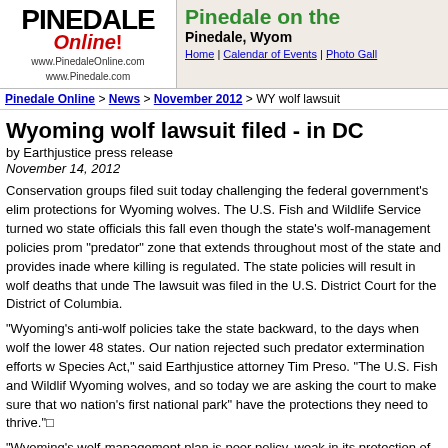Pinedale Online! www.PinedaleOnline.com www.Pinedale.com | Pinedale on the Web - Pinedale, Wyoming | Home | Calendar of Events | Photo Gallery
Pinedale Online > News > November 2012 > WY wolf lawsuit
Wyoming wolf lawsuit filed - in DC
by Earthjustice press release
November 14, 2012
Conservation groups filed suit today challenging the federal government's elimination of protections for Wyoming wolves. The U.S. Fish and Wildlife Service turned wolf management over to state officials this fall even though the state's wolf-management policies promote a massive "predator" zone that extends throughout most of the state and provides inadequate protection where killing is regulated. The state policies will result in wolf deaths that undermine recovery. The lawsuit was filed in the U.S. District Court for the District of Columbia.
"Wyoming's anti-wolf policies take the state backward, to the days when wolves were wiped from the lower 48 states. Our nation rejected such predator extermination efforts when it passed the Endangered Species Act," said Earthjustice attorney Tim Preso. "The U.S. Fish and Wildlife Service abandoned Wyoming wolves, and so today we are asking the court to make sure that wolves near the nation's first national park" have the protections they need to thrive."
"Wyoming's wolf-management plan is poor policy, weak in its protection of wolves," added Franz Camenzind, a retired Ph.D. wildlife biologist who lives in the Jackson area. "It sets a very disturbing precedent for other states by abdicating management responsibility to kill wolves over approximately 85 percent of the state."
Since Wyoming took over wolf management Oct. 1, 2012, at least 49 wolves have been killed.